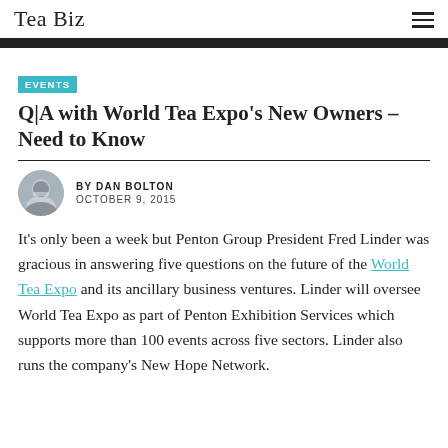Tea Biz
EVENTS
Q|A with World Tea Expo's New Owners – Need to Know
BY DAN BOLTON
OCTOBER 9, 2015
It's only been a week but Penton Group President Fred Linder was gracious in answering five questions on the future of the World Tea Expo and its ancillary business ventures. Linder will oversee World Tea Expo as part of Penton Exhibition Services which supports more than 100 events across five sectors. Linder also runs the company's New Hope Network.